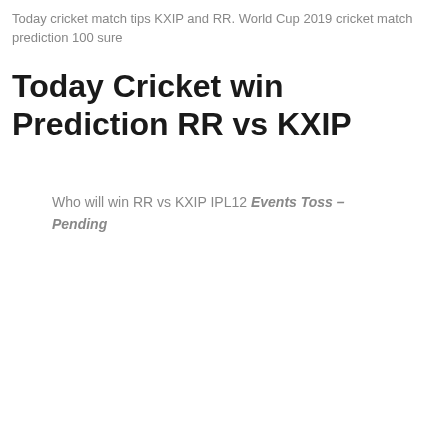Today cricket match tips KXIP and RR. World Cup 2019 cricket match prediction 100 sure
Today Cricket win Prediction RR vs KXIP
Who will win RR vs KXIP IPL12 Events Toss – Pending